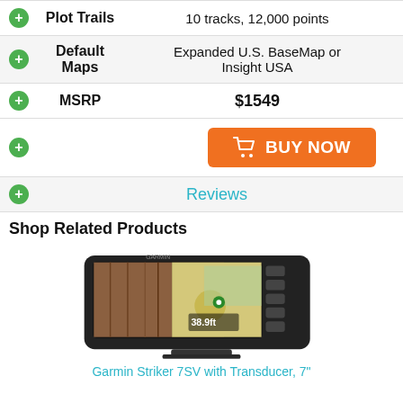| Feature | Value |
| --- | --- |
| Plot Trails | 10 tracks, 12,000 points |
| Default Maps | Expanded U.S. BaseMap or Insight USA |
| MSRP | $1549 |
[Figure (other): Orange BUY NOW button with shopping cart icon]
Reviews
Shop Related Products
[Figure (photo): Garmin Striker 7SV with Transducer fish finder device]
Garmin Striker 7SV with Transducer, 7"